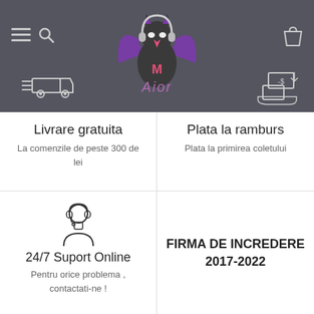[Figure (screenshot): Website header with dark background, logo of Aior (bat-themed character with purple wings and pink beak), navigation icons (hamburger menu, search, shopping bag), delivery truck icon on left, payment/cash icon on right.]
Livrare gratuita
La comenzile de peste 300 de lei
Plata la ramburs
Plata la primirea coletului
[Figure (illustration): Customer support person icon with headset]
24/7 Suport Online
Pentru orice problema , contactati-ne !
FIRMA DE INCREDERE 2017-2022